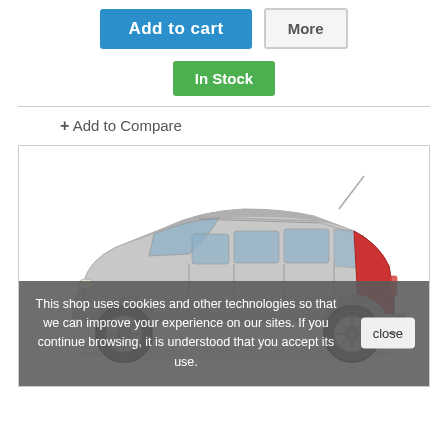Add to cart | More
In Stock
+ Add to Compare
[Figure (photo): Silver Mazda5 minivan/wagon viewed from the side, on a white background.]
This shop uses cookies and other technologies so that we can improve your experience on our sites. If you continue browsing, it is understood that you accept its use.
close